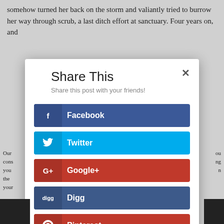somehow turned her back on the storm and valiantly tried to burrow her way through scrub, a last ditch effort at sanctuary. Four years on, and
Share This
Share this post with your friends!
Facebook
Twitter
Google+
Digg
Pinterest
reddit
Our cons you the n your